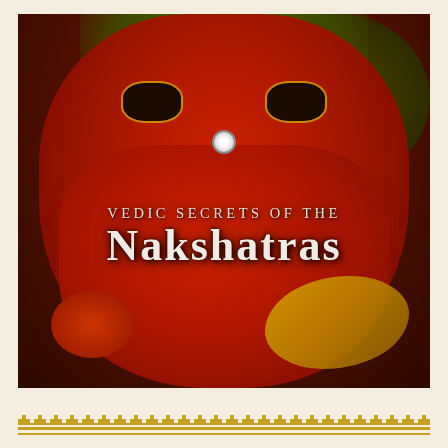[Figure (illustration): Book cover illustration of a red multi-headed deity figure (likely Ketu or a Vedic deity) painted in traditional Indian style on a dark background. The figure has multiple animal-like heads with large eyes, a circular nose ornament, and a large red body. A yellow serpent tail curves at lower right, and a small rabbit-like creature appears at lower left. The background has dark olive-green areas. Text overlay reads 'VEDIC SECRETS OF THE NAKSHATRAS'. The image is framed by a thin gold double border.]
VEDIC SECRETS OF THE NAKSHATRAS
[Figure (illustration): Decorative repeating step/meander pattern border in golden/amber color at the bottom of the page, resembling a traditional Indian or Greek key pattern.]